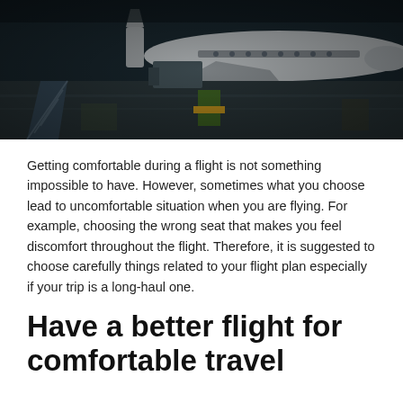[Figure (photo): Aerial/ground-level view of an airport tarmac with a large commercial airplane at a gate, ground support equipment visible, dark moody tones]
Getting comfortable during a flight is not something impossible to have. However, sometimes what you choose lead to uncomfortable situation when you are flying. For example, choosing the wrong seat that makes you feel discomfort throughout the flight. Therefore, it is suggested to choose carefully things related to your flight plan especially if your trip is a long-haul one.
Have a better flight for comfortable travel